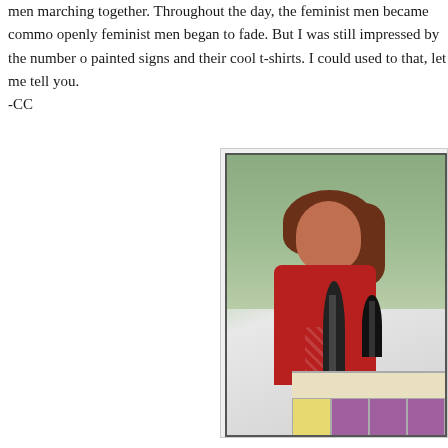men marching together. Throughout the day, the feminist men became commo openly feminist men began to fade. But I was still impressed by the number o painted signs and their cool t-shirts. I could used to that, let me tell you.
-CC
[Figure (photo): A woman with long brown hair wearing a red top with white pattern, speaking at a microphone at an outdoor event. A podium with colorful strips (yellow and purple) is visible at the bottom. Green field visible in the background.]